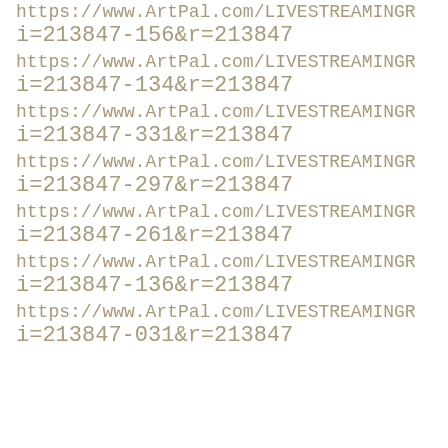https://www.ArtPal.com/LIVESTREAMINGREALITY?i=213847-156&r=213847
https://www.ArtPal.com/LIVESTREAMINGREALITY?i=213847-134&r=213847
https://www.ArtPal.com/LIVESTREAMINGREALITY?i=213847-331&r=213847
https://www.ArtPal.com/LIVESTREAMINGREALITY?i=213847-297&r=213847
https://www.ArtPal.com/LIVESTREAMINGREALITY?i=213847-261&r=213847
https://www.ArtPal.com/LIVESTREAMINGREALITY?i=213847-136&r=213847
https://www.ArtPal.com/LIVESTREAMINGREALITY?i=213847-031&r=213847